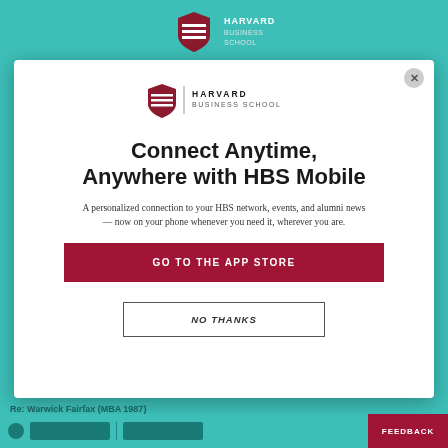[Figure (logo): Harvard Business School logo (shield + text) in teal header background]
[Figure (screenshot): Modal popup overlay with close button (x)]
[Figure (logo): Harvard Business School shield logo with text HARVARD BUSINESS SCHOOL inside modal]
Connect Anytime, Anywhere with HBS Mobile
A personalized connection to your HBS network, events, and alumni news — now on your phone whenever you need it, wherever you are.
GO TO THE APP STORE
NO THANKS
Re: Warwick Fairfax (MBA 1987)
FEEDBACK